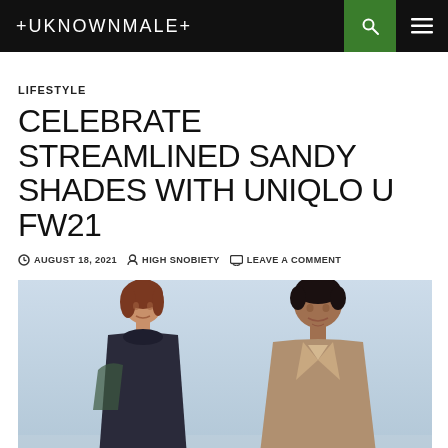+UKNOWNMALE+
LIFESTYLE
CELEBRATE STREAMLINED SANDY SHADES WITH UNIQLO U FW21
AUGUST 18, 2021  HIGH SNOBIETY  LEAVE A COMMENT
[Figure (photo): Two models wearing Uniqlo U FW21 collection — a woman with short brown hair wearing a dark turtleneck and a man with short dark hair wearing a beige/tan jacket, photographed against a light blue sky background.]